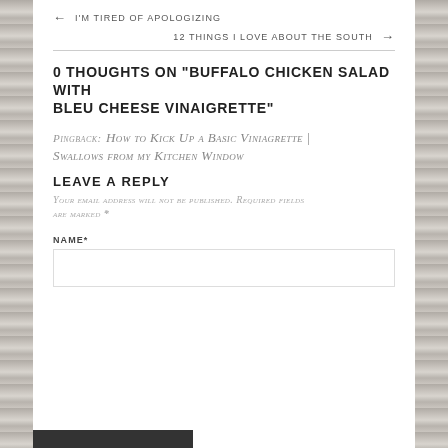← I'M TIRED OF APOLOGIZING
12 THINGS I LOVE ABOUT THE SOUTH →
0 THOUGHTS ON "BUFFALO CHICKEN SALAD WITH BLEU CHEESE VINAIGRETTE"
Pingback: How to Kick Up a Basic Viniagrette | Swallows from my Kitchen Window
LEAVE A REPLY
Your email address will not be published. Required fields are marked *
NAME*